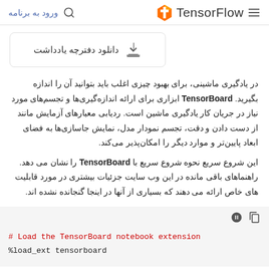ورود به برنامه | TensorFlow ☰
[Figure (illustration): Download notebook button with download icon and Persian text 'دانلود دفترچه یادداشت']
در یادگیری ماشینی، برای بهبود چیزی اغلب باید بتوانید آن را اندازه بگیرید. TensorBoard ابزاری برای ارائه اندازه‌گیری‌ها و تجسم‌های مورد نیاز در جریان کار یادگیری ماشین است. ردیابی معیارهای آزمایش مانند از دست دادن و دقت، تجسم نمودار مدل، نمایش جاساز‌ی‌ها به فضای ابعاد پایین‌تر و موارد دیگر را امکان‌پذیر می‌کند.
این شروع سریع نحوه شروع سریع با TensorBoard را نشان می دهد. راهنماهای باقی مانده در این وب سایت جزئیات بیشتری در مورد قابلیت های خاص ارائه می دهند که بسیاری از آنها در اینجا گنجانده نشده اند.
# Load the TensorBoard notebook extension
%load_ext tensorboard